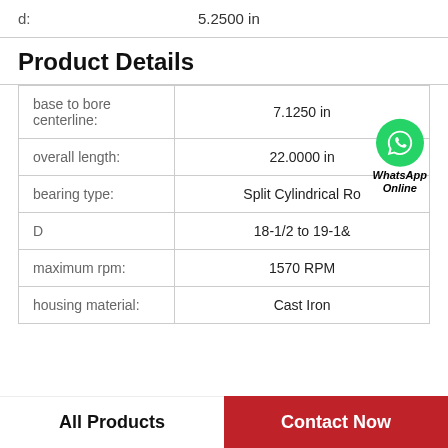| Property | Value |
| --- | --- |
| d: | 5.2500 in |
Product Details
| Property | Value |
| --- | --- |
| base to bore centerline: | 7.1250 in |
| overall length: | 22.0000 in |
| bearing type: | Split Cylindrical Ro |
| D | 18-1/2 to 19-1& |
| maximum rpm: | 1570 RPM |
| housing material: | Cast Iron |
All Products   Contact Now